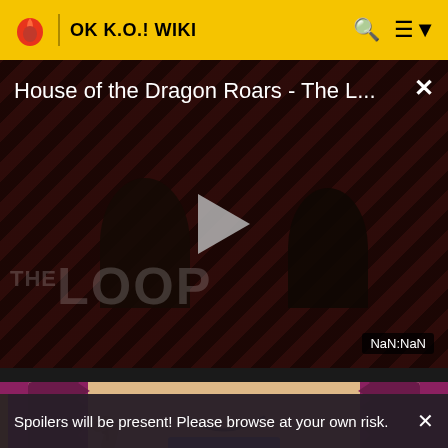OK K.O.! WIKI
[Figure (screenshot): Video player showing 'House of the Dragon Roars - The L...' with a play button, diagonal stripe background, two dark silhouette figures, THE LOOP watermark text, and NaN:NaN duration badge]
[Figure (illustration): Cartoon character illustration showing a smiling animated character with brown skin and blue outfit, cropped, on a purple/maroon background]
Spoilers will be present! Please browse at your own risk.